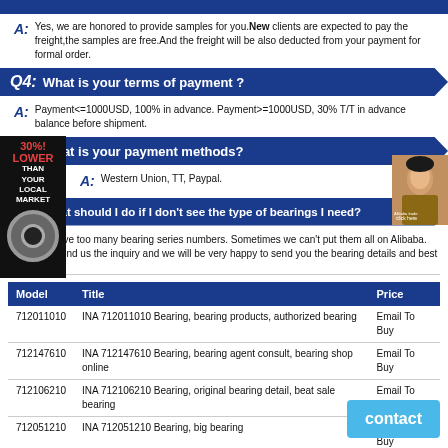A: Yes, we are honored to provide samples for you. New clients are expected to pay the freight,the samples are free.And the freight will be also deducted from your payment for formal order.
Q4: What is your terms of payment ?
A: Payment<=1000USD, 100% in advance. Payment>=1000USD, 30% T/T in advance balance before shipment.
Q5: What is your payment methods?
A: Western Union, TT, Paypal.
Q6: What should I do if I don't see the type of bearings I need?
A: We have too many bearing series numbers. Sometimes we can't put them all on Alibaba. Just send us the inquiry and we will be very happy to send you the bearing details and best price.
| Model | Title | Price |
| --- | --- | --- |
| 712011010 | INA 712011010 Bearing, bearing products, authorized bearing | Email To Buy |
| 712147610 | INA 712147610 Bearing, bearing agent consult, bearing shop online | Email To Buy |
| 712106210 | INA 712106210 Bearing, original bearing detail, beat sale bearing | Email To Buy |
| 712051210 | INA 712051210 Bearing, big bearing | Email To Buy |